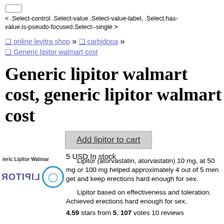< .Select-control .Select-value .Select-value-label, .Select.has-value.is-pseudo-focused.Select--single >
❑ online levitra shop » ❑ carbidopa » ❑ Generic lipitor walmart cost
Generic lipitor walmart cost, generic lipitor walmart cost
Add lipitor to cart
5 USD In stock
[Figure (logo): Lipitor logo with mirrored text and circular emblem]
Lipitor (atorvastatin, atorvastatin) 10 mg, at 50 mg or 100 mg helped approximately 4 out of 5 men get and keep erections hard enough for sex.
Lipitor based on effectiveness and toleration. Achieved erections hard enough for sex.
4.59 stars from 5, 107 votes 10 reviews